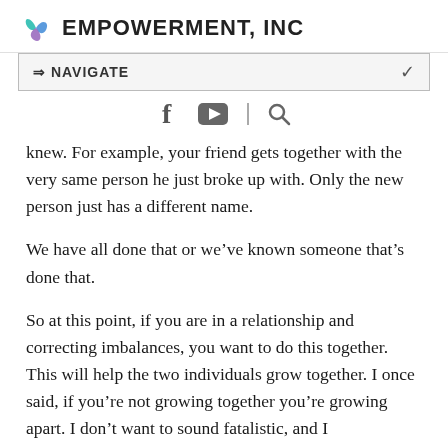EMPOWERMENT, INC
⇒ NAVIGATE
[Figure (infographic): Social media icons: Facebook (f), YouTube (play button), and a search (magnifying glass) icon with a vertical divider between YouTube and search.]
knew. For example, your friend gets together with the very same person he just broke up with. Only the new person just has a different name.
We have all done that or we’ve known someone that’s done that.
So at this point, if you are in a relationship and correcting imbalances, you want to do this together. This will help the two individuals grow together. I once said, if you’re not growing together you’re growing apart. I don’t want to sound fatalistic, and I